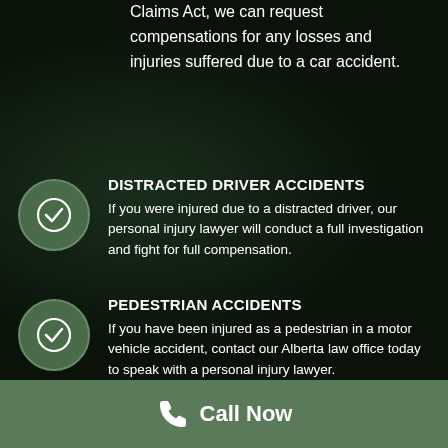Claims Act, we can request compensations for any losses and injuries suffered due to a car accident.
DISTRACTED DRIVER ACCIDENTS
If you were injured due to a distracted driver, our personal injury lawyer will conduct a full investigation and fight for full compensation.
PEDESTRIAN ACCIDENTS
If you have been injured as a pedestrian in a motor vehicle accident, contact our Alberta law office today to speak with a personal injury lawyer.
Call Now